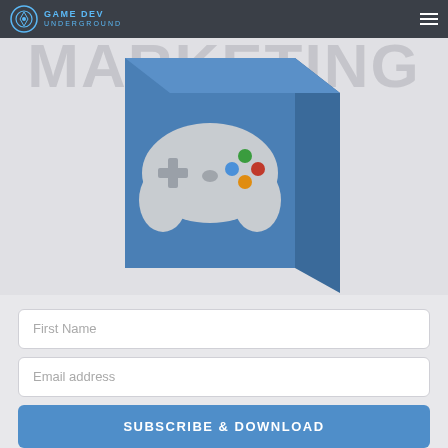Game Dev Underground
[Figure (illustration): Blue product box with a game controller graphic on the front, displayed on a light gray background with faint large 'MARKETING' text watermark behind it]
First Name
Email address
SUBSCRIBE & DOWNLOAD